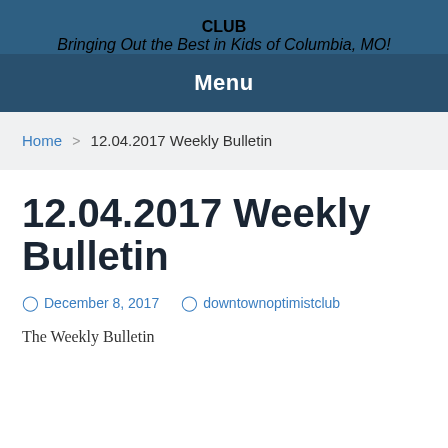CLUB
Bringing Out the Best in Kids of Columbia, MO!
Menu
Home > 12.04.2017 Weekly Bulletin
12.04.2017 Weekly Bulletin
December 8, 2017   downtownoptimistclub
The Weekly Bulletin